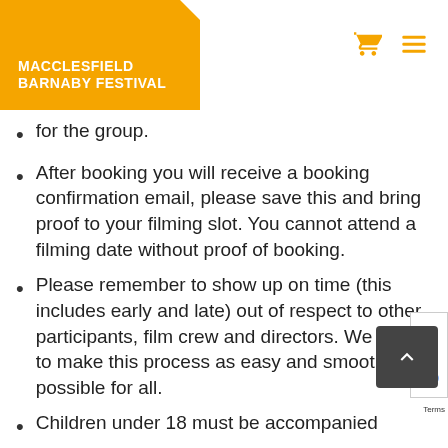[Figure (logo): Macclesfield Barnaby Festival orange logo with cart and hamburger menu icons]
for the group.
After booking you will receive a booking confirmation email, please save this and bring proof to your filming slot. You cannot attend a filming date without proof of booking.
Please remember to show up on time (this includes early and late) out of respect to other participants, film crew and directors. We want to make this process as easy and smooth as possible for all.
Children under 18 must be accompanied